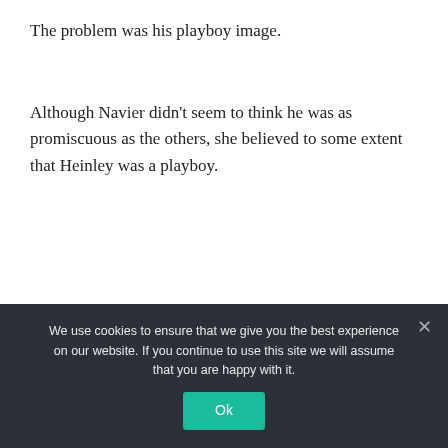The problem was his playboy image.
Although Navier didn't seem to think he was as promiscuous as the others, she believed to some extent that Heinley was a playboy.
Navier wouldn't think I was good at all 'that' if I was a playboy?
Of course, he was sure to do well once he learned and
We use cookies to ensure that we give you the best experience on our website. If you continue to use this site we will assume that you are happy with it.